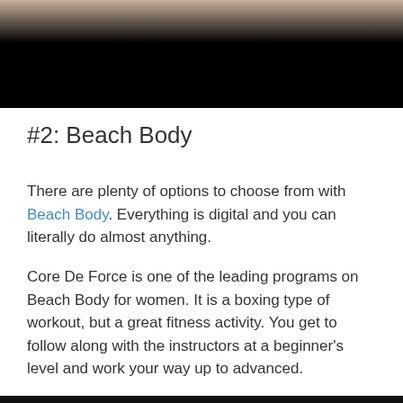[Figure (photo): Top portion of a photo showing a person, partially visible, with black background overlay at bottom]
#2: Beach Body
There are plenty of options to choose from with Beach Body. Everything is digital and you can literally do almost anything.
Core De Force is one of the leading programs on Beach Body for women. It is a boxing type of workout, but a great fitness activity. You get to follow along with the instructors at a beginner's level and work your way up to advanced.